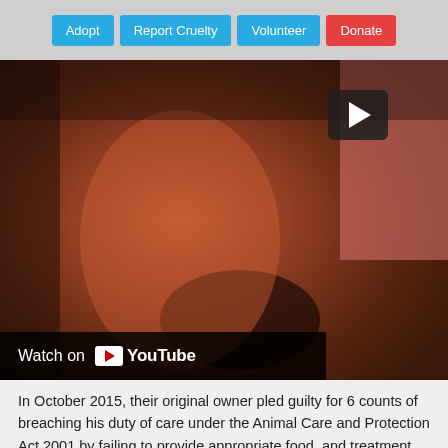Adopt | Report Cruelty | Volunteer | Donate
[Figure (screenshot): YouTube video thumbnail showing a close-up of a horse's face/nose being touched by a person's hand, with a play button overlay and 'Watch on YouTube' bar at the bottom]
In October 2015, their original owner pled guilty for 6 counts of breaching his duty of care under the Animal Care and Protection Act 2001 by failing to provide appropriate food, and treatment for their emaciated state. Their previous owner was fined $7,000 and court and professional costs, and is prohibited from owning horses for 3 years.
If you'd like to continue to help us help animals like Gemma and Magic please choose to adopt a pet, donate to the RSPCA, volunteer at the RSPCA or become a foster carer. With 99% of our funding coming from generous donors, it's thanks to kind and